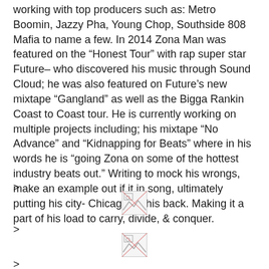working with top producers such as: Metro Boomin, Jazzy Pha, Young Chop, Southside 808 Mafia to name a few. In 2014 Zona Man was featured on the “Honest Tour” with rap super star Future– who discovered his music through Sound Cloud; he was also featured on Future’s new mixtape “Gangland” as well as the Bigga Rankin Coast to Coast tour. He is currently working on multiple projects including; his mixtape “No Advance” and “Kidnapping for Beats” where in his words he is “going Zona on some of the hottest industry beats out.” Writing to mock his wrongs, make an example out if it in song, ultimately putting his city- Chicago on his back. Making it a part of his load to carry, divide, & conquer.
>
[Figure (other): Broken/missing image placeholder icon]
>
[Figure (other): Broken/missing image placeholder icon]
>